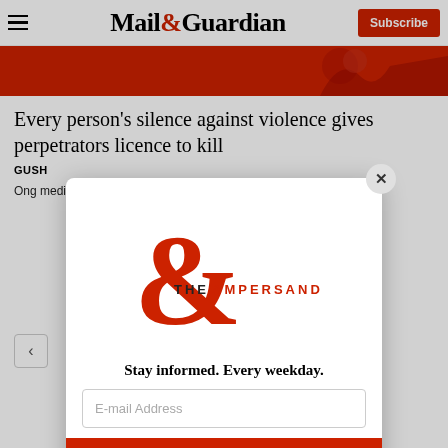Mail&Guardian Subscribe
[Figure (photo): Red banner image strip with figure silhouette on right]
Every person's silence against violence gives perpetrators licence to kill
GUSH...
Ong... medi...
[Figure (logo): The Ampersand modal popup with large red ampersand logo, email signup form with 'Stay informed. Every weekday.' tagline, E-mail Address input field, and Signup now button]